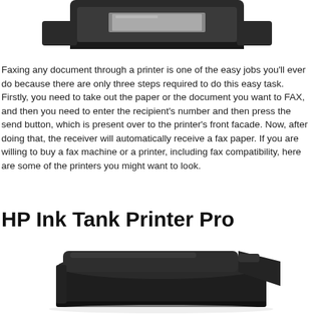[Figure (photo): Top portion of a black printer/fax machine, showing the document feeder tray area, cropped at the bottom]
Faxing any document through a printer is one of the easy jobs you'll ever do because there are only three steps required to do this easy task. Firstly, you need to take out the paper or the document you want to FAX, and then you need to enter the recipient's number and then press the send button, which is present over to the printer's front facade. Now, after doing that, the receiver will automatically receive a fax paper. If you are willing to buy a fax machine or a printer, including fax compatibility, here are some of the printers you might want to look.
HP Ink Tank Printer Pro
[Figure (photo): Bottom portion showing a black HP Ink Tank Printer Pro, viewed from a slightly elevated angle, showing the top and front of the device]